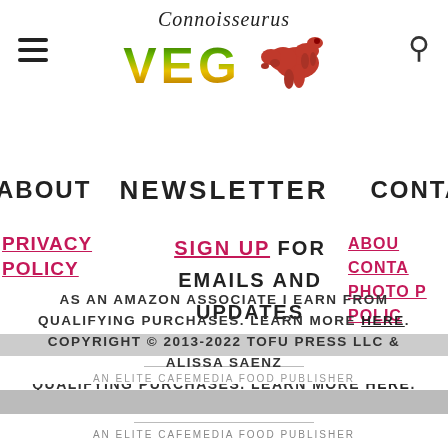[Figure (logo): Connoissaurus VEG logo with stylized script text and dinosaur illustration]
ABOUT
NEWSLETTER
CONTA
PRIVACY POLICY
SIGN UP FOR EMAILS AND UPDATES
ABOU
CONTA
PHOTO P
POLIC
AS AN AMAZON ASSOCIATE I EARN FROM QUALIFYING PURCHASES. LEARN MORE HERE. COPYRIGHT © 2013-2022 TOFU PRESS LLC & ALISSA SAENZ
AN ELITE CAFEMEDIA FOOD PUBLISHER